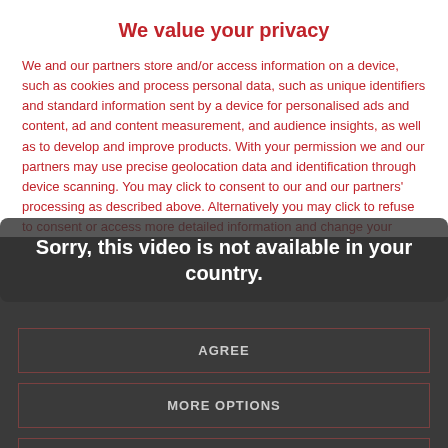We value your privacy
We and our partners store and/or access information on a device, such as cookies and process personal data, such as unique identifiers and standard information sent by a device for personalised ads and content, ad and content measurement, and audience insights, as well as to develop and improve products. With your permission we and our partners may use precise geolocation data and identification through device scanning. You may click to consent to our and our partners' processing as described above. Alternatively you may click to refuse to consent or access more detailed information and change your
Sorry, this video is not available in your country.
AGREE
MORE OPTIONS
DISAGREE